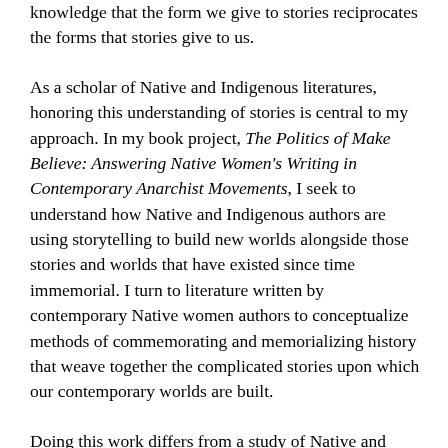knowledge that the form we give to stories reciprocates the forms that stories give to us.
As a scholar of Native and Indigenous literatures, honoring this understanding of stories is central to my approach. In my book project, The Politics of Make Believe: Answering Native Women's Writing in Contemporary Anarchist Movements, I seek to understand how Native and Indigenous authors are using storytelling to build new worlds alongside those stories and worlds that have existed since time immemorial. I turn to literature written by contemporary Native women authors to conceptualize methods of commemorating and memorializing history that weave together the complicated stories upon which our contemporary worlds are built.
Doing this work differs from a study of Native and Indigenous literatures that is centered on the acquisition and proliferation of ethnographic knowledge. Such an approach assumes that all non-Native readers